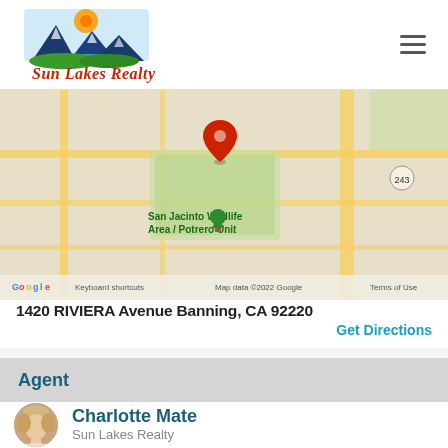[Figure (logo): Sun Lakes Realty logo with mountain, sun, and lake graphic and red script text]
[Figure (map): Google Maps view showing location in Banning CA area near San Jacinto Wildlife Area / Potrero Unit, with a red map pin. Shows road 243. Map data ©2022 Google. Keyboard shortcuts. Terms of Use.]
1420 RIVIERA Avenue Banning, CA 92220
Get Directions
Agent
[Figure (photo): Headshot photo of Charlotte Mate, a blonde woman]
Charlotte Mate
Sun Lakes Realty